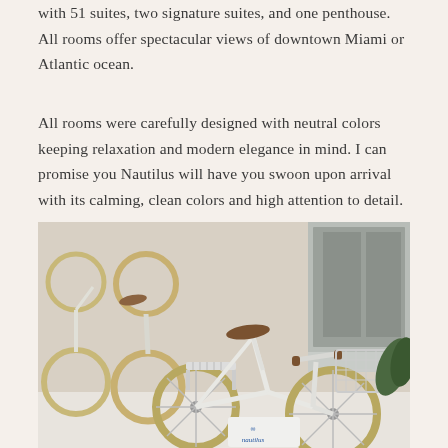with 51 suites, two signature suites, and one penthouse. All rooms offer spectacular views of downtown Miami or Atlantic ocean.
All rooms were carefully designed with neutral colors keeping relaxation and modern elegance in mind. I can promise you Nautilus will have you swoon upon arrival with its calming, clean colors and high attention to detail.
[Figure (photo): Several white vintage-style bicycles with brown leather saddles and wire baskets parked together. A Nautilus hotel branded tag is visible on one bicycle.]